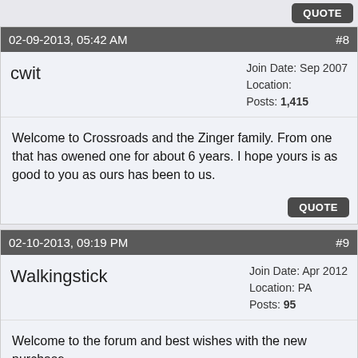QUOTE
02-09-2013, 05:42 AM  #8
cwit  Join Date: Sep 2007  Location:  Posts: 1,415
Welcome to Crossroads and the Zinger family. From one that has owened one for about 6 years. I hope yours is as good to you as ours has been to us.
QUOTE
02-10-2013, 09:19 PM  #9
Walkingstick  Join Date: Apr 2012  Location: PA  Posts: 95
Welcome to the forum and best wishes with the new purchase.